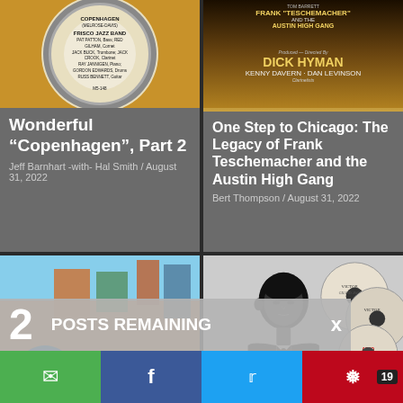[Figure (photo): Vinyl record label for Copenhagen by Frisco Jazz Band, M5-148]
Wonderful “Copenhagen”, Part 2
Jeff Barnhart -with- Hal Smith / August 31, 2022
[Figure (photo): Album cover featuring Dick Hyman, Kenny Davern, Dan Levinson and the Austin High Gang]
One Step to Chicago: The Legacy of Frank Teschemacher and the Austin High Gang
Bert Thompson / August 31, 2022
[Figure (photo): Festival street parade with colorful feathered costumes in blue, teal, and pink]
[Figure (illustration): Black and white illustration of a musician in tuxedo with Victor record labels]
2  POSTS REMAINING  x
SUBSCRIBE